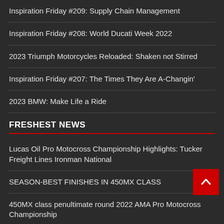Inspiration Friday #209: Supply Chain Management
Inspiration Friday #208: World Ducati Week 2022
2023 Triumph Motorcycles Reloaded: Shaken not Stirred
Inspiration Friday #207: The Times They Are A-Changin'
2023 BMW: Make Life a Ride
FRESHEST NEWS
Lucas Oil Pro Motocross Championship Highlights: Tucker Freight Lines Ironman National
SEASON-BEST FINISHES IN 450MX CLASS
450MX class penultimate round 2022 AMA Pro Motocross Championship
Historic Lucas Oil Pro Motocross Championship Title Fight Down to the Wire
U.S. Air Force Special Warfare Ironman Results
New rider to defend colours of Ducati MotoGP team
Sim Racing: 2022 MotoGP eSport Championship Japa…